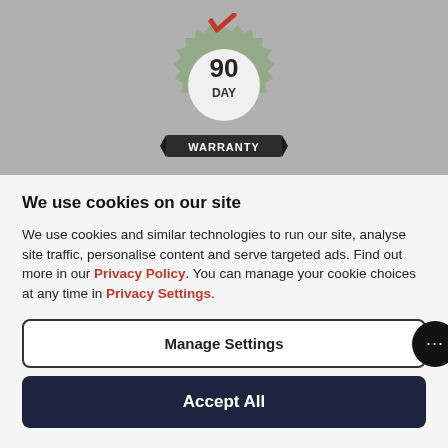[Figure (logo): 90 Day Warranty badge: gear/cog shape in sage green with a red checkmark at top, bold text '90' and 'DAY' centered, dark ribbon banner below reading 'WARRANTY']
We use cookies on our site
We use cookies and similar technologies to run our site, analyse site traffic, personalise content and serve targeted ads. Find out more in our Privacy Policy. You can manage your cookie choices at any time in Privacy Settings.
Manage Settings
Accept All